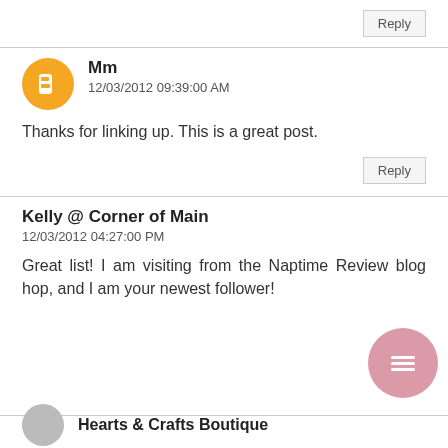Reply
Mm
12/03/2012 09:39:00 AM
Thanks for linking up. This is a great post.
Reply
Kelly @ Corner of Main
12/03/2012 04:27:00 PM
Great list! I am visiting from the Naptime Review blog hop, and I am your newest follower!
Hearts & Crafts Boutique